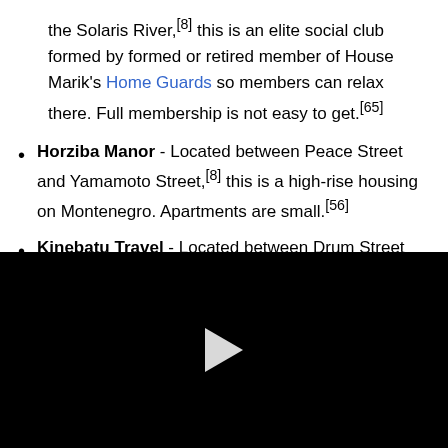the Solaris River,[8] this is an elite social club formed by formed or retired member of House Marik's Home Guards so members can relax there. Full membership is not easy to get.[65]
Horziba Manor - Located between Peace Street and Yamamoto Street,[8] this is a high-rise housing on Montenegro. Apartments are small.[56]
Kinebatu Travel - Located between Drum Street and Ralston Street, this is a front to hire mercenary JumpShips and DropShips.[8]
[Figure (other): Black video player block with a white play button triangle in the center]